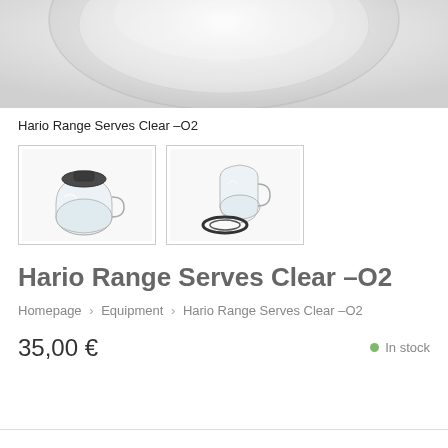[Figure (photo): Close-up photo of a clear glass coffee server/range server, showing the top rim from above with light reflecting off the glass surface.]
Hario Range Serves Clear –O2
[Figure (photo): Thumbnail image 1: Hario Range Server with lid/dripper placed on top, glass carafe visible.]
[Figure (photo): Thumbnail image 2: Hario Range Server and rubber seal/lid ring shown separately next to the glass carafe.]
Hario Range Serves Clear –O2
Homepage > Equipment > Hario Range Serves Clear –O2
35,00 €
In stock